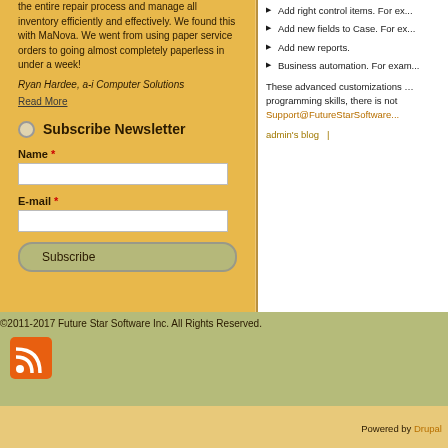the entire repair process and manage all inventory efficiently and effectively. We found this with MaNova. We went from using paper service orders to going almost completely paperless in under a week!
Ryan Hardee,  a-i Computer Solutions
Read More
Subscribe Newsletter
Name *
E-mail *
Add right control items. For ex...
Add new fields to Case. For ex...
Add new reports.
Business automation. For exam...
These advanced customizations ... programming skills, there is not Support@FutureStarSoftware...
admin's blog  |
©2011-2017 Future Star Software Inc. All Rights Reserved.
Powered by Drupal